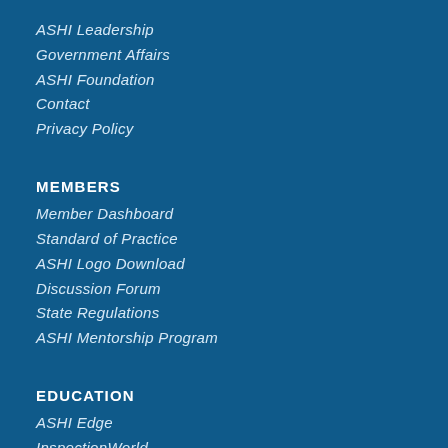ASHI Leadership
Government Affairs
ASHI Foundation
Contact
Privacy Policy
MEMBERS
Member Dashboard
Standard of Practice
ASHI Logo Download
Discussion Forum
State Regulations
ASHI Mentorship Program
EDUCATION
ASHI Edge
InspectionWorld
New Inspector Training